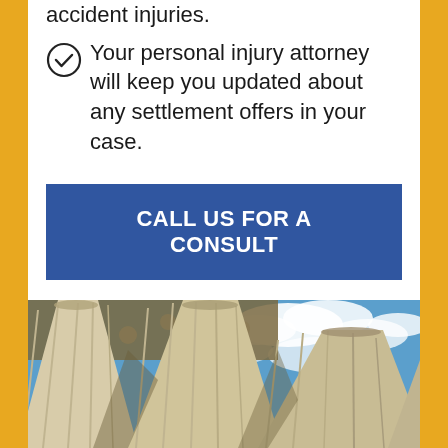accident injuries.
Your personal injury attorney will keep you updated about any settlement offers in your case.
CALL US FOR A CONSULT
[Figure (photo): Low-angle view looking up at classical courthouse columns with blue sky and clouds in the background]